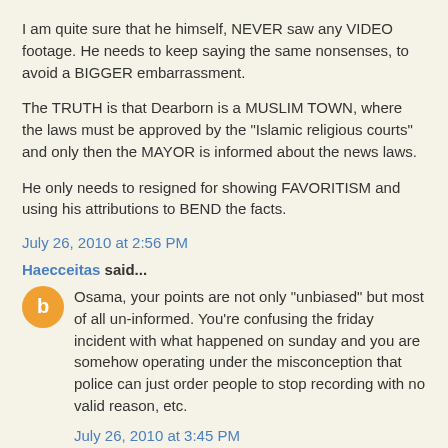I am quite sure that he himself, NEVER saw any VIDEO footage. He needs to keep saying the same nonsenses, to avoid a BIGGER embarrassment.
The TRUTH is that Dearborn is a MUSLIM TOWN, where the laws must be approved by the "Islamic religious courts" and only then the MAYOR is informed about the news laws.
He only needs to resigned for showing FAVORITISM and using his attributions to BEND the facts.
July 26, 2010 at 2:56 PM
Haecceitas said...
Osama, your points are not only "unbiased" but most of all un-informed. You're confusing the friday incident with what happened on sunday and you are somehow operating under the misconception that police can just order people to stop recording with no valid reason, etc.
July 26, 2010 at 3:45 PM